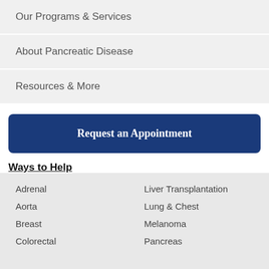Our Programs & Services
About Pancreatic Disease
Resources & More
Request an Appointment
Ways to Help
Adrenal
Liver Transplantation
Aorta
Lung & Chest
Breast
Melanoma
Colorectal
Pancreas